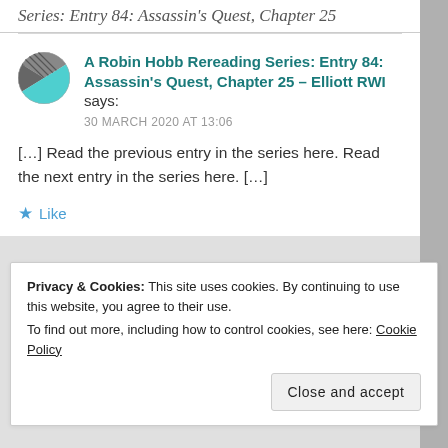Series: Entry 84: Assassin's Quest, Chapter 25
A Robin Hobb Rereading Series: Entry 84: Assassin's Quest, Chapter 25 – Elliott RWI says:
30 MARCH 2020 AT 13:06
[…] Read the previous entry in the series here. Read the next entry in the series here. […]
★ Like
Privacy & Cookies: This site uses cookies. By continuing to use this website, you agree to their use.
To find out more, including how to control cookies, see here: Cookie Policy
Close and accept